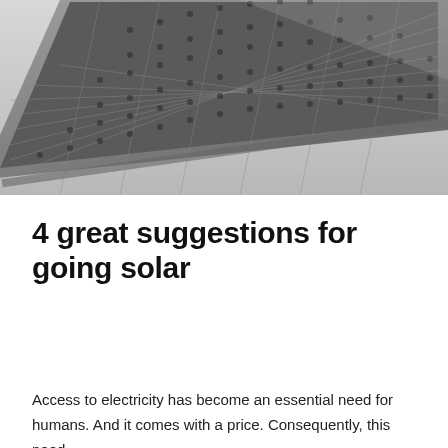[Figure (photo): Black and white photograph of solar panels on a building, viewed from below at an angle, showing the grid pattern of photovoltaic cells.]
4 great suggestions for going solar
Access to electricity has become an essential need for humans. And it comes with a price. Consequently, this need